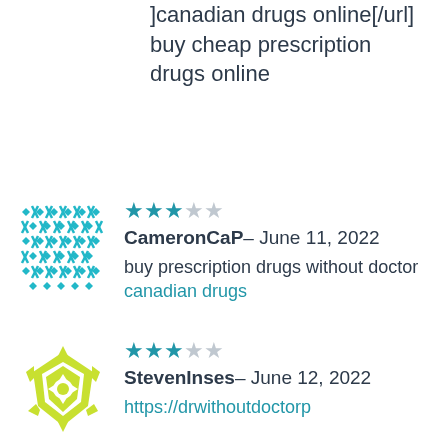]canadian drugs online[/url] buy cheap prescription drugs online
[Figure (illustration): Teal decorative avatar with geometric diamond/cross pattern]
★★★☆☆ CameronCaP – June 11, 2022
buy prescription drugs without doctor canadian drugs
[Figure (illustration): Lime green decorative avatar with floral/geometric pattern]
★★★☆☆ StevenInses – June 12, 2022
https://drwithoutdoctorp